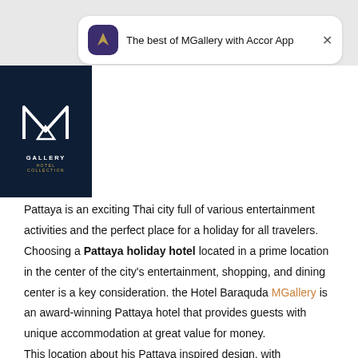[Figure (screenshot): App banner for Accor App with MGallery logo icon, text 'The best of MGallery with Accor App' and close button]
[Figure (logo): MGallery Hotel Collection logo — white M with triangle on dark navy background]
BARAQUDA PATTAYA – MGALLERY
Pattaya is an exciting Thai city full of various entertainment activities and the perfect place for a holiday for all travelers. Choosing a Pattaya holiday hotel located in a prime location in the center of the city's entertainment, shopping, and dining center is a key consideration. the Hotel Baraquda MGallery is an award-winning Pattaya hotel that provides guests with unique accommodation at great value for money.
This location, about his Pattaya inspired design, with exceptional...